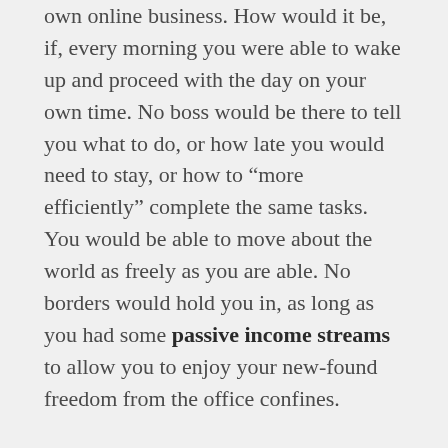own online business. How would it be, if, every morning you were able to wake up and proceed with the day on your own time. No boss would be there to tell you what to do, or how late you would need to stay, or how to “more efficiently” complete the same tasks. You would be able to move about the world as freely as you are able. No borders would hold you in, as long as you had some passive income streams to allow you to enjoy your new-found freedom from the office confines.
Now, you would ultimately be responsible for all of the ins-and-outs of the daily operations of your business, and that is a lot of responsibility. With that being said, I would strongly advise against proceeding into this career path if you are the type of person who likes to